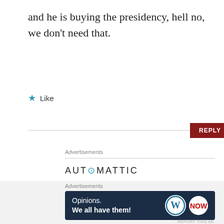and he is buying the presidency, hell no, we don't need that.
★ Like
REPLY
Advertisements
[Figure (logo): AUTOMATTIC logo with teal @ symbol]
[Figure (infographic): Automattic advertisement: Build a better web and a better world. with person illustration and blue button.]
Advertisements
[Figure (infographic): Dark navy advertisement banner: Opinions. We all have them! with WordPress logo and another circular logo.]